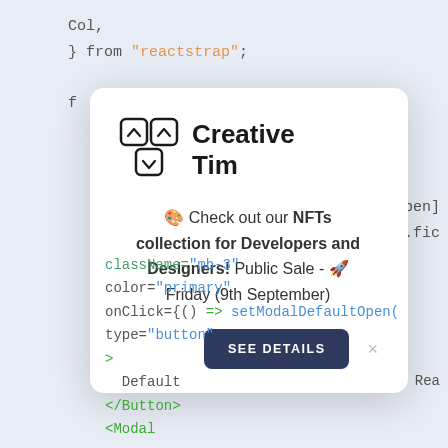[Figure (screenshot): Code editor background showing JavaScript/JSX code with syntax highlighting in light blue theme, with a modal dialog overlay featuring Creative Tim logo, NFT promotion text, and a 'SEE DETAILS' button.]
🎨 Check out our NFTs collection for Developers and Designers! Public Sale - 🚀 Friday (9th September)
SEE DETAILS